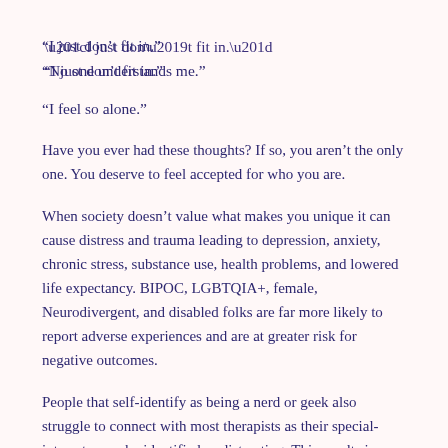“I just don’t fit in.”
“No one understands me.”
“I feel so alone.”
Have you ever had these thoughts? If so, you aren’t the only one. You deserve to feel accepted for who you are.
When society doesn’t value what makes you unique it can cause distress and trauma leading to depression, anxiety, chronic stress, substance use, health problems, and lowered life expectancy. BIPOC, LGBTQIA+, female, Neurodivergent, and disabled folks are far more likely to report adverse experiences and are at greater risk for negative outcomes.
People that self-identify as being a nerd or geek also struggle to connect with most therapists as their special-interests may be identified as distracting. This results in therapists who are not...